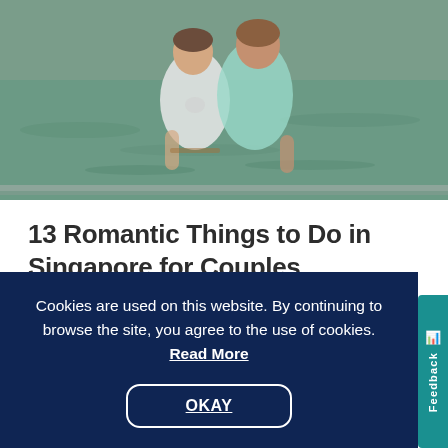[Figure (photo): Two people standing together near a body of water, one in a white top and one in a teal/mint shirt, with greenish water and a railing visible in the background.]
13 Romantic Things to Do in Singapore for Couples
DESTINATIONS | ASIA
Cookies are used on this website. By continuing to browse the site, you agree to the use of cookies. Read More
OKAY